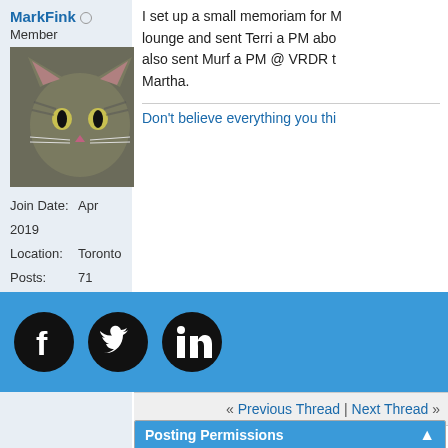MarkFink
Member
[Figure (photo): Avatar photo of a tabby cat]
Join Date: Apr 2019
Location: Toronto
Posts: 71
I set up a small memoriam for M... lounge and sent Terri a PM abo... also sent Murf a PM @ VRDR t... Martha.
Don't believe everything you thi...
[Figure (logo): Social media icons: Facebook, Twitter, LinkedIn on blue bar]
▼ Pag...
Quick Na...
« Previous Thread | Next Thread »
Posting Permissions
You may not post new threads
BB code is On
Smilies are On